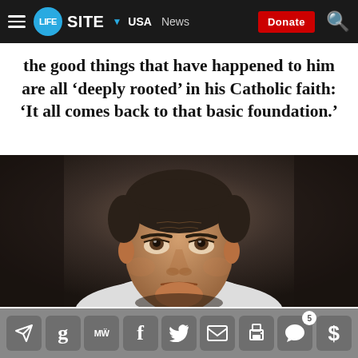LifeSite — USA News — Donate
the good things that have happened to him are all ‘deeply rooted’ in his Catholic faith: ‘It all comes back to that basic foundation.’
[Figure (photo): A man in clerical collar and white vestment looking upward with a solemn expression, in a dimly lit setting]
Social sharing icons: Telegram, GetTr, MeWe, Facebook, Twitter, Email, Print, Comments (5), Donate